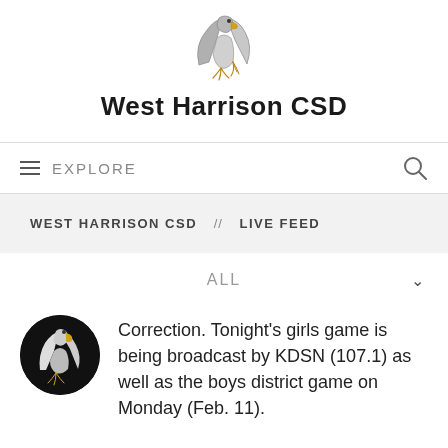[Figure (logo): West Harrison CSD eagle mascot logo — line art of an eagle head in gray and gold/yellow]
West Harrison CSD
EXPLORE
WEST HARRISON CSD  //  LIVE FEED
ALL
Correction. Tonight's girls game is being broadcast by KDSN (107.1) as well as the boys district game on Monday (Feb. 11).